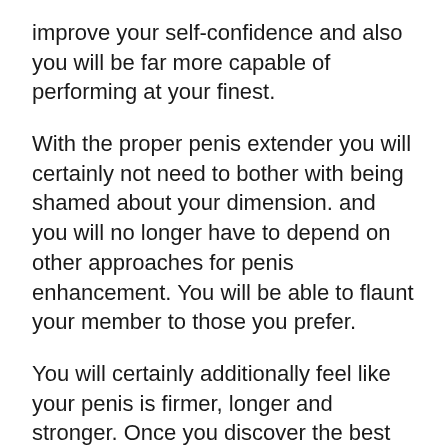improve your self-confidence and also you will be far more capable of performing at your finest.
With the proper penis extender you will certainly not need to bother with being shamed about your dimension. and you will no longer have to depend on other approaches for penis enhancement. You will be able to flaunt your member to those you prefer.
You will certainly additionally feel like your penis is firmer, longer and stronger. Once you discover the best penis extender for your dimension you will certainly observe the distinction as soon as possible.